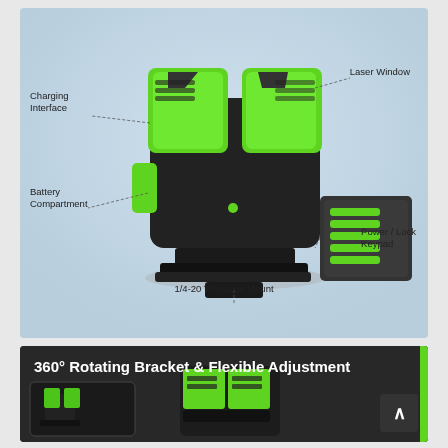[Figure (engineering-diagram): Laser level device diagram with labeled parts: Laser Window (top right), Charging Interface (left), Battery Compartment (lower left), Power/Lock Keypad (right inset), 1/4-20 Threaded Mount (bottom center). Device is black with green accents.]
[Figure (photo): Second panel showing '360° Rotating Bracket & Flexible Adjustment' with partial photos of the laser level on a rotating bracket, green and black device on dark background.]